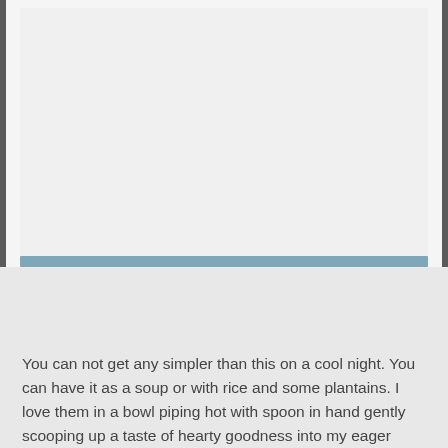[Figure (photo): Large image placeholder area at the top of the page, with a teal/steel-blue horizontal divider bar beneath it.]
You can not get any simpler than this on a cool night. You can have it as a soup or with rice and some plantains. I love them in a bowl piping hot with spoon in hand gently scooping up a taste of hearty goodness into my eager awaiting mouth.